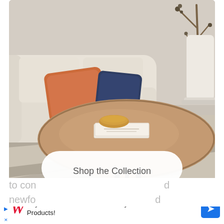[Figure (photo): Living room photo showing a beige sofa with an orange pillow and navy pillow, a round wooden coffee table with books and a gold bowl, a white vase with branches, and a patterned rug. A white rounded-rectangle button overlaid reads 'Shop the Collection'.]
I have decided to not look back at my younger self and wrestled with her idea of our future any longer. If anything, I feel empathy for her. I see my friends who are mothers and my friends who are struggling to con[tinue]... newfo[und]...d
[Figure (screenshot): Advertisement banner: Buy 2 Get 3rd Free Select Beauty Products! (Walgreens ad with blue arrow button)]